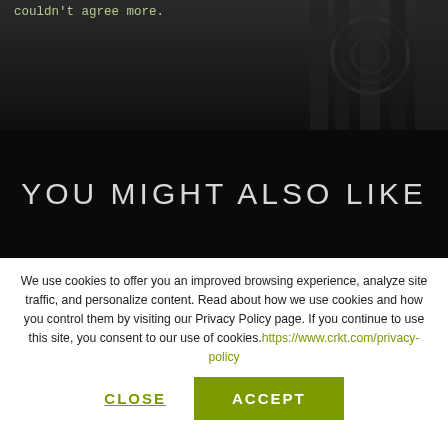couldn't agree more.
[Figure (photo): Dark background photo with mechanical/industrial elements, dark tones]
YOU MIGHT ALSO LIKE
We use cookies to offer you an improved browsing experience, analyze site traffic, and personalize content. Read about how we use cookies and how you control them by visiting our Privacy Policy page. If you continue to use this site, you consent to our use of cookies. https://www.crkt.com/privacy-policy
CLOSE
ACCEPT